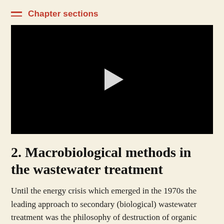Chapter sections
[Figure (screenshot): Black video player with white play button triangle in the center]
2. Macrobiological methods in the wastewater treatment
Until the energy crisis which emerged in the 1970s the leading approach to secondary (biological) wastewater treatment was the philosophy of destruction of organic matter, and tertiary